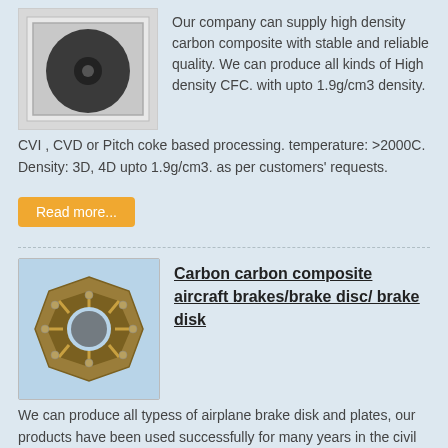[Figure (photo): Photo of a dark round carbon composite disc/puck in a white box packaging]
Our company can supply high density carbon composite with stable and reliable quality. We can produce all kinds of High density CFC. with upto 1.9g/cm3 density. CVI , CVD or Pitch coke based processing. temperature: >2000C. Density: 3D, 4D upto 1.9g/cm3. as per customers' requests.
Read more...
[Figure (photo): Photo of a carbon carbon composite aircraft brake disc — hexagonal ring-shaped metal and carbon part on a blue background]
Carbon carbon composite aircraft brakes/brake disc/ brake disk
We can produce all typess of airplane brake disk and plates, our products have been used successfully for many years in the civil aviation aircrafts, quality is stable. .Our factory is government controlled company, and we are mainly engaged in